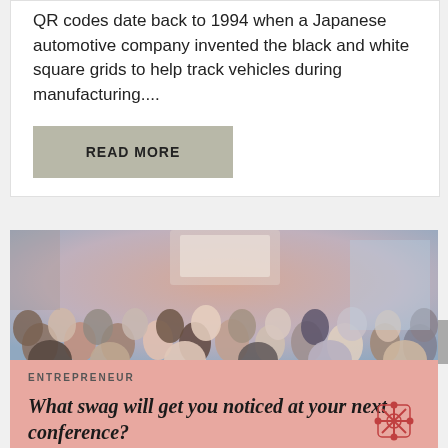QR codes date back to 1994 when a Japanese automotive company invented the black and white square grids to help track vehicles during manufacturing....
READ MORE
[Figure (photo): Audience at a conference viewed from behind, with a presenter and screen at the front, warm indoor lighting]
ENTREPRENEUR
What swag will get you noticed at your next conference?
[Figure (logo): Decorative red/rose stylized monogram logo icon]